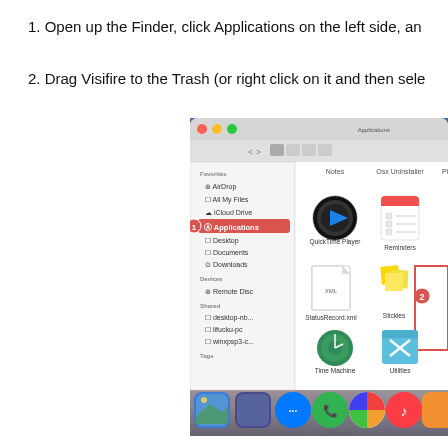1. Open up the Finder, click Applications on the left side, an
2. Drag Visifire to the Trash (or right click on it and then sele
[Figure (screenshot): macOS Finder window showing Applications folder selected in the sidebar, with QuickTime Player, Reminders, StatusRecord.xml, Stickies, Time Machine, and Utilities visible. A red rectangle highlights the Applications item in the sidebar (labeled 1) and another highlights an item in the grid (labeled 2). The Finder window is shown over a macOS El Capitan desktop with the dock visible at the bottom.]